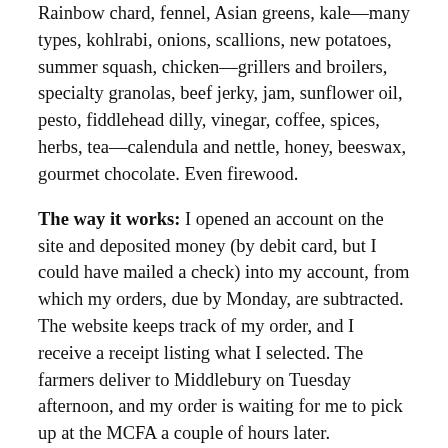Rainbow chard, fennel, Asian greens, kale—many types, kohlrabi, onions, scallions, new potatoes, summer squash, chicken—grillers and broilers, specialty granolas, beef jerky, jam, sunflower oil, pesto, fiddlehead dilly, vinegar, coffee, spices, herbs, tea—calendula and nettle, honey, beeswax, gourmet chocolate. Even firewood.
The way it works: I opened an account on the site and deposited money (by debit card, but I could have mailed a check) into my account, from which my orders, due by Monday, are subtracted. The website keeps track of my order, and I receive a receipt listing what I selected. The farmers deliver to Middlebury on Tuesday afternoon, and my order is waiting for me to pick up at the MCFA a couple of hours later.
The most unexpected surprise for me so far has been the amazing pork chops. I am old enough to remember what pork tasted like before it was raised in factory settings. And the pork chops from May Hop Place Farm taste like...